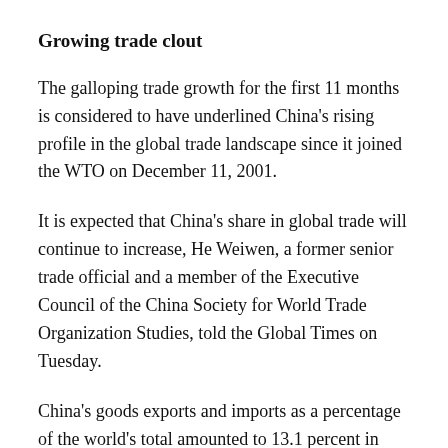Growing trade clout
The galloping trade growth for the first 11 months is considered to have underlined China's rising profile in the global trade landscape since it joined the WTO on December 11, 2001.
It is expected that China's share in global trade will continue to increase, He Weiwen, a former senior trade official and a member of the Executive Council of the China Society for World Trade Organization Studies, told the Global Times on Tuesday.
China's goods exports and imports as a percentage of the world's total amounted to 13.1 percent in 2020, according to official numbers. This compares to a